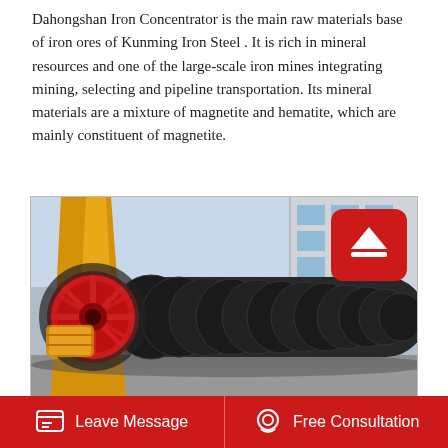Dahongshan Iron Concentrator is the main raw materials base of iron ores of Kunming Iron Steel . It is rich in mineral resources and one of the large-scale iron mines integrating mining, selecting and pipeline transportation. Its mineral materials are a mixture of magnetite and hematite, which are mainly constituent of magnetite.
[Figure (photo): Industrial photo of a large rotating drum/spiral concentrator equipment with a prominent red spoked wheel on the left side and a long black spiral drum extending to the right, resting on the factory floor. A yellow crane arm is visible in the background along with a multi-story building. A red scroll-to-top button is overlaid in the top-right corner of the image.]
Leave Message   Free Consultation